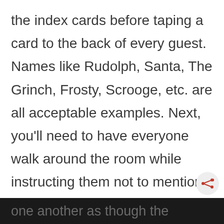the index cards before taping a card to the back of every guest. Names like Rudolph, Santa, The Grinch, Frosty, Scrooge, etc. are all acceptable examples. Next, you'll need to have everyone walk around the room while instructing them not to mention the character on each other's back. However, they are to talk to one another as though the